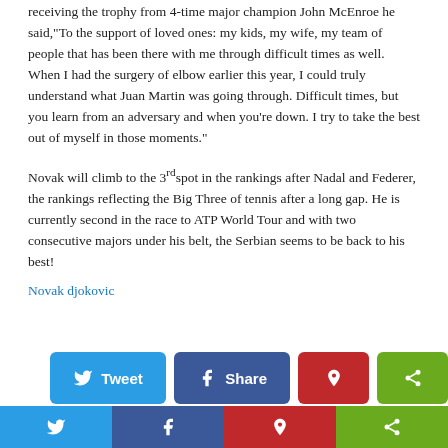receiving the trophy from 4-time major champion John McEnroe he said,"To the support of loved ones: my kids, my wife, my team of people that has been there with me through difficult times as well. When I had the surgery of elbow earlier this year, I could truly understand what Juan Martin was going through. Difficult times, but you learn from an adversary and when you're down. I try to take the best out of myself in those moments."
Novak will climb to the 3rd spot in the rankings after Nadal and Federer, the rankings reflecting the Big Three of tennis after a long gap. He is currently second in the race to ATP World Tour and with two consecutive majors under his belt, the Serbian seems to be back to his best!
Novak djokovic